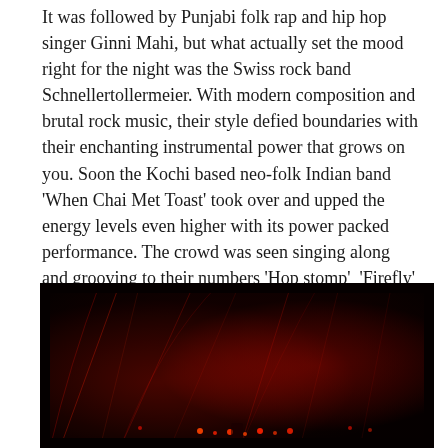It was followed by Punjabi folk rap and hip hop singer Ginni Mahi, but what actually set the mood right for the night was the Swiss rock band Schnellertollermeier. With modern composition and brutal rock music, their style defied boundaries with their enchanting instrumental power that grows on you. Soon the Kochi based neo-folk Indian band 'When Chai Met Toast' took over and upped the energy levels even higher with its power packed performance. The crowd was seen singing along and grooving to their numbers 'Hop stomp'  'Firefly' and more. Day 1 was concluded with super energetic electro-jazz by the French Group NO JAZZ.
[Figure (photo): A dark concert stage photo with red stage lighting, showing performers and equipment with dramatic red light beams and bokeh lights visible in a very dark, atmospheric setting.]